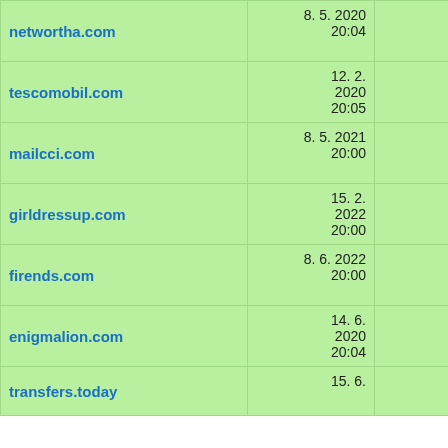| Domain | Date/Time | Amount |
| --- | --- | --- |
| networth.com | 8. 5. 2020 20:04 | 1 005,48 Kč |
| tescomobil.com | 12. 2. 2020 20:05 | 1 005,41 Kč |
| mailcci.com | 8. 5. 2021 20:00 | 1 004,99 Kč |
| girldressup.com | 15. 2. 2022 20:00 | 1 004,98 Kč |
| firends.com | 8. 6. 2022 20:00 | 1 004,86 Kč |
| enigmalion.com | 14. 6. 2020 20:04 | 1 004,69 Kč |
| transfers.today | 15. 6. | 1 |